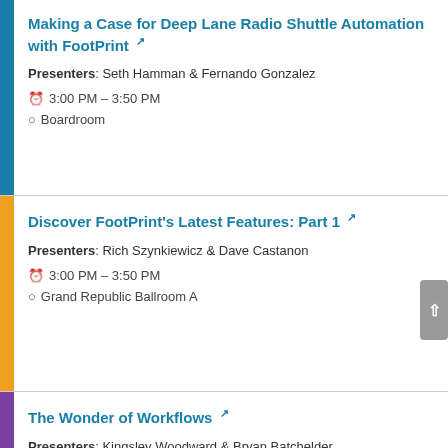Making a Case for Deep Lane Radio Shuttle Automation with FootPrint
Presenters: Seth Hamman & Fernando Gonzalez
3:00 PM – 3:50 PM
Boardroom
Discover FootPrint's Latest Features: Part 1
Presenters: Rich Szynkiewicz & Dave Castanon
3:00 PM – 3:50 PM
Grand Republic Ballroom A
The Wonder of Workflows
Presenters: Kingsley Woodward & Bryan Batchelder